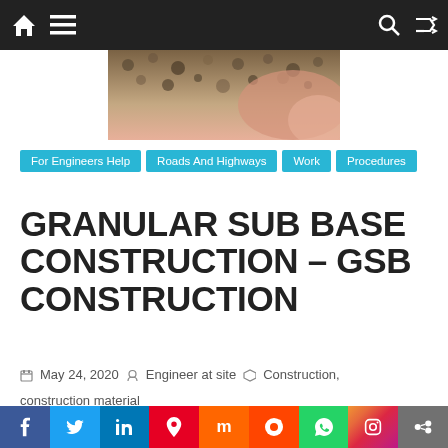Navigation bar with home, menu, search, and shuffle icons
[Figure (photo): Close-up photo of granular sub-base material (crushed stone/gravel) with pinkish soil background]
For Engineers Help | Roads And Highways | Work Procedures
GRANULAR SUB BASE CONSTRUCTION – GSB CONSTRUCTION
May 24, 2020  Engineer at site  Construction, construction material
SHARING HELPS OTHERS
[Figure (infographic): Social sharing icons: Facebook (blue circle), Twitter (light blue circle), LinkedIn (dark blue circle), WhatsApp (green circle), Share (orange circle)]
Bottom social bar: Facebook, Twitter, LinkedIn, Pinterest, Mix, Reddit, WhatsApp, Instagram, Share